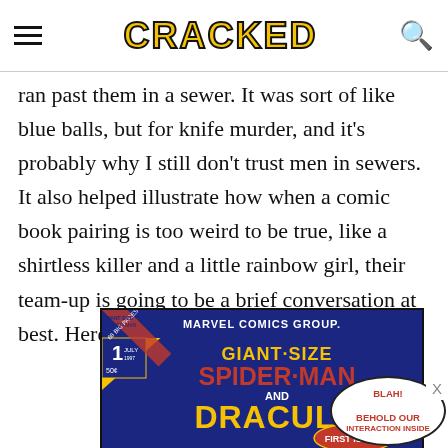CRACKED
ran past them in a sewer. It was sort of like blue balls, but for knife murder, and it's probably why I still don't trust men in sewers. It also helped illustrate how when a comic book pairing is too weird to be true, like a shirtless killer and a little rainbow girl, their team-up is going to be a brief conversation at best. Here's my favorite example:
[Figure (photo): Comic book cover: Giant-Size Spider-Man and Dracula, Marvel Comics Group, Issue 1, July, 50 cents, 68 Big Pages, First Issue]
BLAH! BEHOLD OUR INTERACTION INSIDE